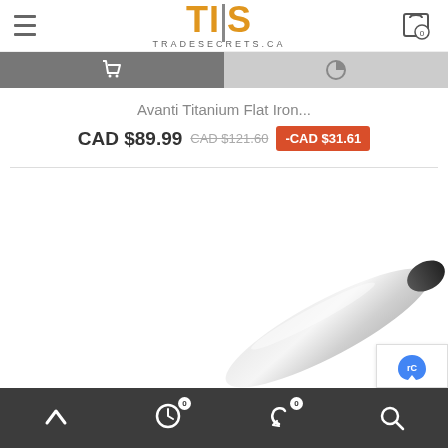TIS TRADESECRETS.CA
Avanti Titanium Flat Iron...
CAD $89.99  CAD $121.60  -CAD $31.61
[Figure (photo): Partial view of a flat iron styling tool, silver/chrome color with black end, positioned in lower right of the page.]
Bottom navigation bar with: up arrow, clock/history icon (0), share icon (0), search icon